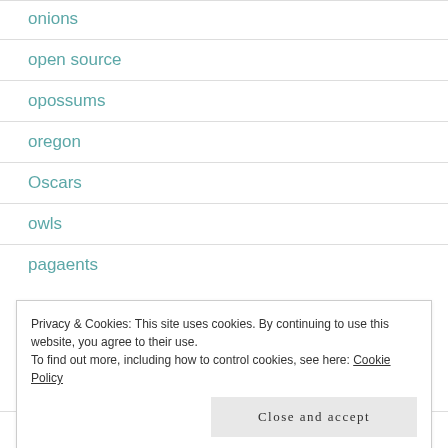onions
open source
opossums
oregon
Oscars
owls
pagaents
Privacy & Cookies: This site uses cookies. By continuing to use this website, you agree to their use.
To find out more, including how to control cookies, see here: Cookie Policy
parties